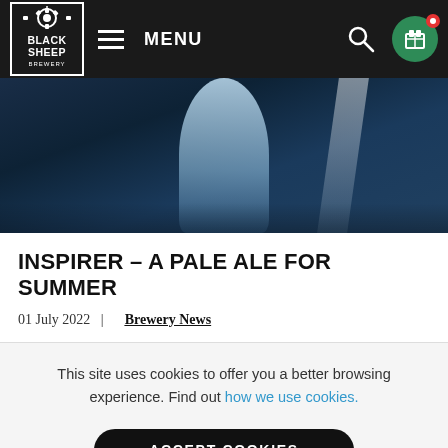BLACK SHEEP BREWERY — MENU navigation bar
[Figure (photo): Hero image showing a hand holding a glass against a dark blue background, suggesting a beer pour or cocktail setting.]
INSPIRER – A PALE ALE FOR SUMMER
01 July 2022  |  Brewery News
This site uses cookies to offer you a better browsing experience. Find out how we use cookies.
ACCEPT COOKIES